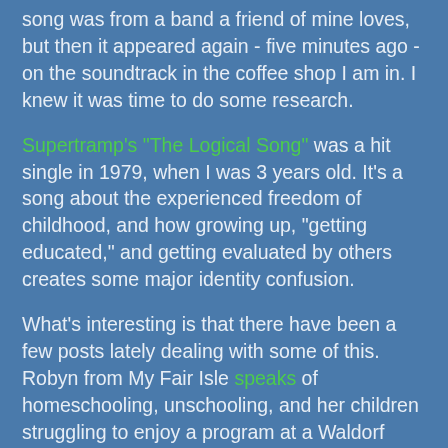song was from a band a friend of mine loves, but then it appeared again - five minutes ago - on the soundtrack in the coffee shop I am in. I knew it was time to do some research.
Supertramp's "The Logical Song" was a hit single in 1979, when I was 3 years old. It's a song about the experienced freedom of childhood, and how growing up, "getting educated," and getting evaluated by others creates some major identity confusion.
What's interesting is that there have been a few posts lately dealing with some of this. Robyn from My Fair Isle speaks of homeschooling, unschooling, and her children struggling to enjoy a program at a Waldorf school. From the bits I've read of Robyn's ideas about learning, there's a deep desire to provide something for her children that runs counter to the kind of education the Supertramp song speaks of, and which most of us experienced. Having spent years teaching, and exploring learning theories and experimenting in my classrooms, I completely agree with Robyn that the standard models of education for either children or adults fail us in many ways.